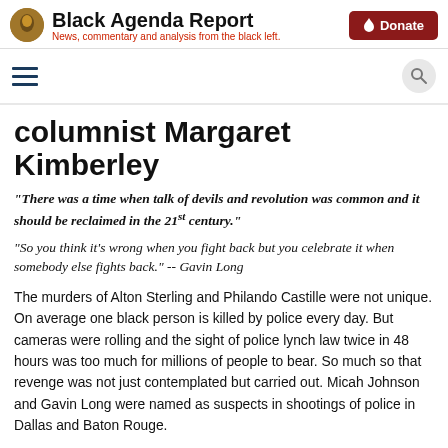Black Agenda Report — News, commentary and analysis from the black left.
columnist Margaret Kimberley
“There was a time when talk of devils and revolution was common and it should be reclaimed in the 21st century.”
“So you think it’s wrong when you fight back but you celebrate it when somebody else fights back.” -- Gavin Long
The murders of Alton Sterling and Philando Castille were not unique. On average one black person is killed by police every day. But cameras were rolling and the sight of police lynch law twice in 48 hours was too much for millions of people to bear. So much so that revenge was not just contemplated but carried out. Micah Johnson and Gavin Long were named as suspects in shootings of police in Dallas and Baton Rouge.